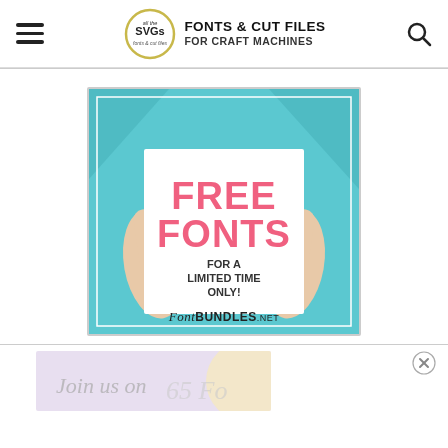all the SVGs — FONTS & CUT FILES FOR CRAFT MACHINES
[Figure (illustration): Advertisement banner for FontBundles.net showing two hands holding a white sign that reads FREE FONTS FOR A LIMITED TIME ONLY! with FontBundles.net branding on a teal/blue background]
[Figure (illustration): Partial advertisement banner visible at bottom, appears to say 'Join us on...' with light purple/cream background, partially cropped]